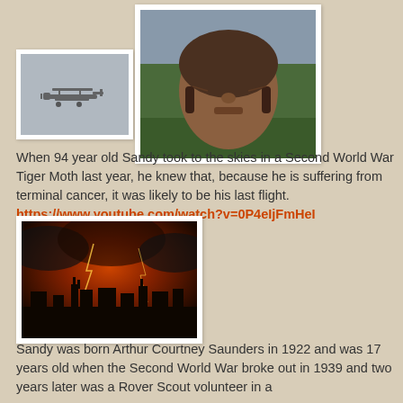[Figure (photo): A vintage biplane (Tiger Moth) photographed in flight against a hazy sky]
[Figure (photo): Close-up of a 94-year-old man wearing WWII aviator goggles and leather flying helmet in the cockpit of a Tiger Moth aircraft]
When 94 year old Sandy took to the skies in a Second World War Tiger Moth last year, he knew that, because he is suffering from terminal cancer, it was likely to be his last flight. https://www.youtube.com/watch?v=0P4eIjFmHeI
[Figure (photo): A dramatic dark landscape with an intense orange-red sky and storm light effects, silhouettes of buildings and smokestacks]
Sandy was born Arthur Courtney Saunders in 1922 and was 17 years old when the Second World War broke out in 1939 and two years later was a Rover Scout volunteer in a